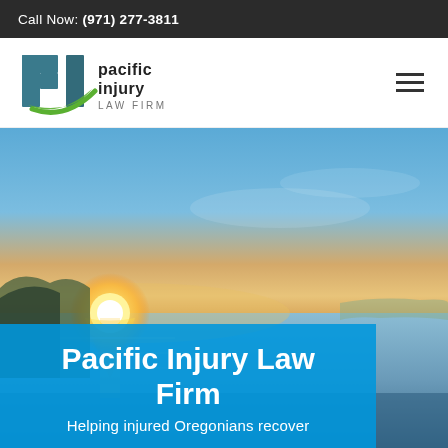Call Now: (971) 277-3811
[Figure (logo): Pacific Injury Law Firm logo with PI letters in teal/blue and green swoosh, with text 'pacific injury LAW FIRM']
[Figure (photo): Sunset over ocean with bright sun near horizon, calm water, warm orange and blue sky tones]
Pacific Injury Law Firm
Helping injured Oregonians recover